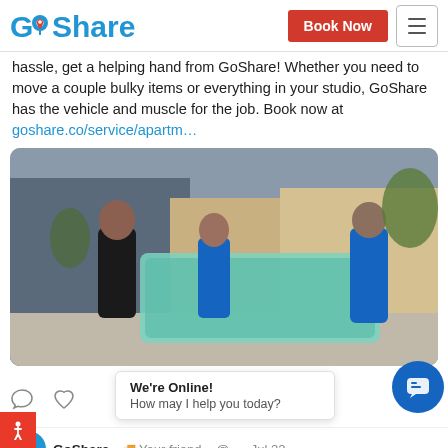GoShare — Book Now (navigation bar)
hassle, get a helping hand from GoShare! Whether you need to move a couple bulky items or everything in your studio, GoShare has the vehicle and muscle for the job. Book now at goshare.co/service/apartm…
[Figure (photo): Three people carrying a wrapped sofa/couch outside a modern apartment building. Two people in blue GoShare shirts and one person in a black jacket. The furniture is wrapped in green plastic wrap.]
We're Online! How may I help you today?
GoShare 🚚 Your friend... @... · Jul 22